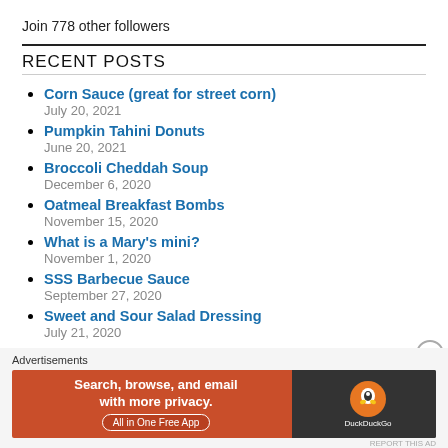Join 778 other followers
RECENT POSTS
Corn Sauce (great for street corn)
July 20, 2021
Pumpkin Tahini Donuts
June 20, 2021
Broccoli Cheddah Soup
December 6, 2020
Oatmeal Breakfast Bombs
November 15, 2020
What is a Mary's mini?
November 1, 2020
SSS Barbecue Sauce
September 27, 2020
Sweet and Sour Salad Dressing
July 21, 2020
[Figure (screenshot): DuckDuckGo advertisement banner: Search, browse, and email with more privacy. All in One Free App]